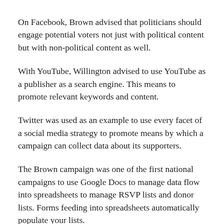On Facebook, Brown advised that politicians should engage potential voters not just with political content but with non-political content as well.
With YouTube, Willington advised to use YouTube as a publisher as a search engine. This means to promote relevant keywords and content.
Twitter was used as an example to use every facet of a social media strategy to promote means by which a campaign can collect data about its supporters.
The Brown campaign was one of the first national campaigns to use Google Docs to manage data flow into spreadsheets to manage RSVP lists and donor lists. Forms feeding into spreadsheets automatically populate your lists.